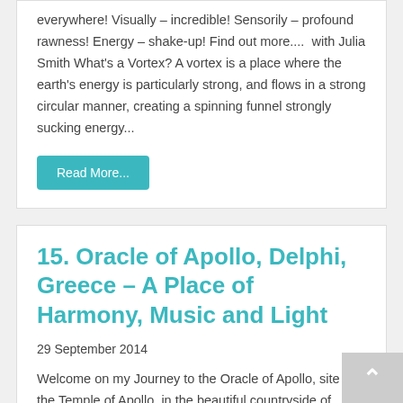everywhere! Visually – incredible! Sensorily – profound rawness! Energy – shake-up! Find out more....  with Julia Smith What's a Vortex? A vortex is a place where the earth's energy is particularly strong, and flows in a strong circular manner, creating a spinning funnel strongly sucking energy...
Read More...
15. Oracle of Apollo, Delphi, Greece – A Place of Harmony, Music and Light
29 September 2014
Welcome on my Journey to the Oracle of Apollo, site of the Temple of Apollo, in the beautiful countryside of Delphi, in